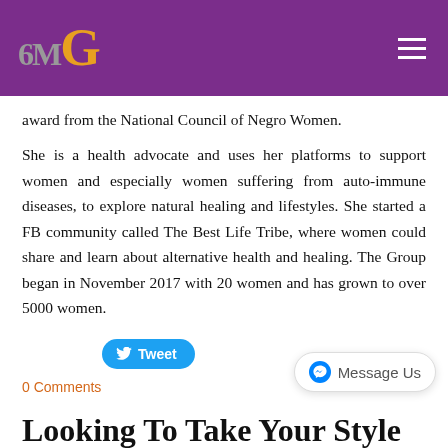GMG logo and navigation
award from the National Council of Negro Women.
She is a health advocate and uses her platforms to support women and especially women suffering from auto-immune diseases, to explore natural healing and lifestyles. She started a FB community called The Best Life Tribe, where women could share and learn about alternative health and healing. The Group began in November 2017 with 20 women and has grown to over 5000 women.
[Figure (other): Tweet button]
0 Comments
[Figure (other): Message Us button with Facebook Messenger icon]
Looking To Take Your Style